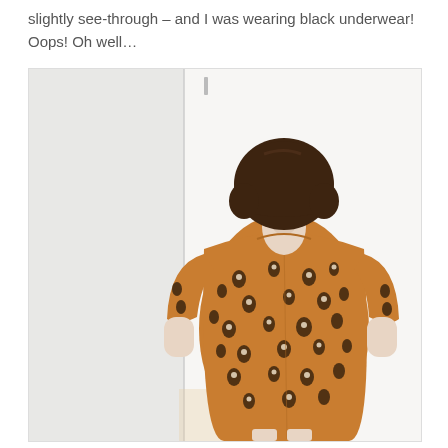slightly see-through – and I was wearing black underwear! Oops! Oh well…
[Figure (photo): Back view of a person with short brown hair wearing a burnt orange/mustard floral print dress with short sleeves, standing against a white wall/door.]